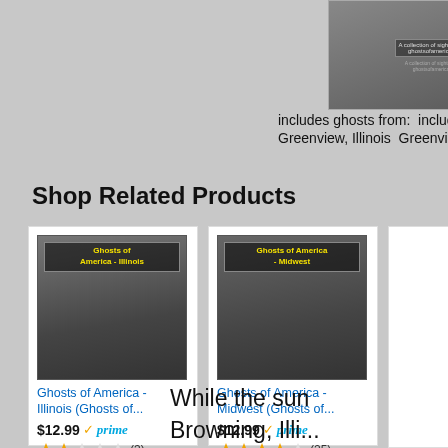includes ghosts from: includes ghosts from:
Greenview, Illinois Greenview, Illinois
Shop Related Products
[Figure (photo): Book cover: Ghosts of America - Illinois, black and white cemetery path photo]
Ghosts of America - Illinois (Ghosts of...
$12.99 prime (3) 2-star rating
[Figure (photo): Book cover: Ghosts of America - Midwest, black and white cemetery photo]
Ghosts of America - Midwest (Ghosts of...
$12.99 prime (25) 4-star rating
[Figure (photo): Book cover: Ghosts of America 6, green/dark cemetery photo]
Ghosts of America 6
$12.99 prime (7) 4-star rating
While the sun
Browning, Illi...